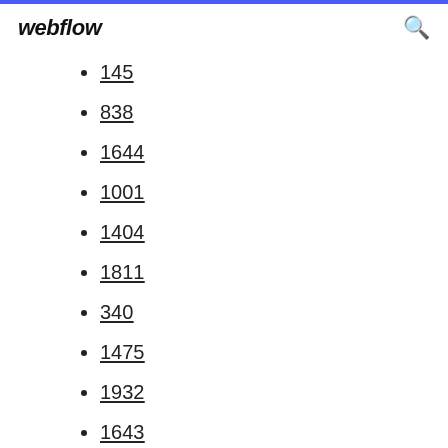webflow
145
838
1644
1001
1404
1811
340
1475
1932
1643
1778
1278
1243